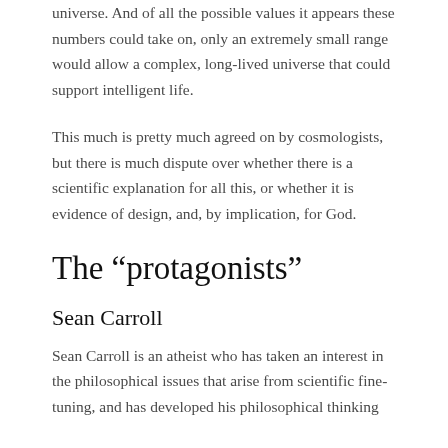universe. And of all the possible values it appears these numbers could take on, only an extremely small range would allow a complex, long-lived universe that could support intelligent life.
This much is pretty much agreed on by cosmologists, but there is much dispute over whether there is a scientific explanation for all this, or whether it is evidence of design, and, by implication, for God.
The “protagonists”
Sean Carroll
Sean Carroll is an atheist who has taken an interest in the philosophical issues that arise from scientific fine-tuning, and has developed his philosophical thinking